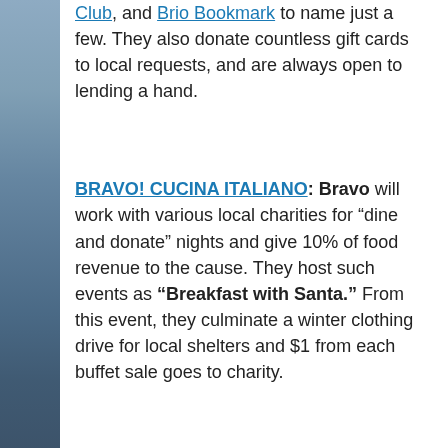Club, and Brio Bookmark to name just a few. They also donate countless gift cards to local requests, and are always open to lending a hand.
BRAVO! CUCINA ITALIANO: Bravo will work with various local charities for “dine and donate” nights and give 10% of food revenue to the cause. They host such events as “Breakfast with Santa.” From this event, they culminate a winter clothing drive for local shelters and $1 from each buffet sale goes to charity.
BRIO TUSCAN GRILL: Brio hosts and donates food to many local events. For example The Greene Daybreak event, to benefit Dayton Daybreak. They also sponsor the “Derby Day Brunch” to benefit The Kettering Medical Center Foundation’s Women’s Wellness Fund. These